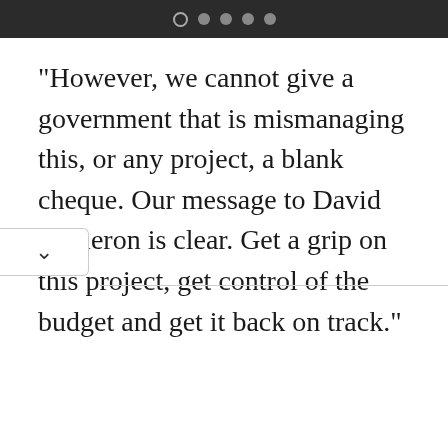● ● ● ●
"However, we cannot give a government that is mismanaging this, or any project, a blank cheque. Our message to David Cameron is clear. Get a grip on this project, get control of the budget and get it back on track."